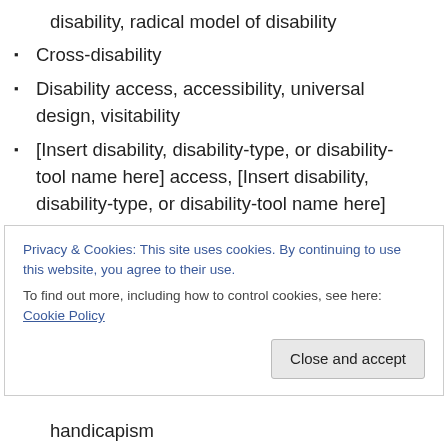disability, radical model of disability
Cross-disability
Disability access, accessibility, universal design, visitability
[Insert disability, disability-type, or disability-tool name here] access, [Insert disability, disability-type, or disability-tool name here] accessibility – for instance, wheelchair access, wheelchair accessibility, blind access, blind accessibility, screenreader access, screenreader accessibility, cognitive access, cognitive accessibility, etc.
Privacy & Cookies: This site uses cookies. By continuing to use this website, you agree to their use.
To find out more, including how to control cookies, see here: Cookie Policy
handicapism